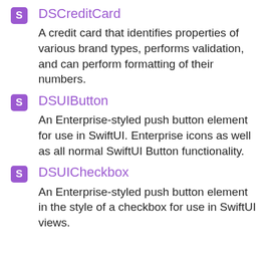DSCreditCard — A credit card that identifies properties of various brand types, performs validation, and can perform formatting of their numbers.
DSUIButton — An Enterprise-styled push button element for use in SwiftUI. Enterprise icons as well as all normal SwiftUI Button functionality.
DSUICheckbox — An Enterprise-styled push button element in the style of a checkbox for use in SwiftUI views.